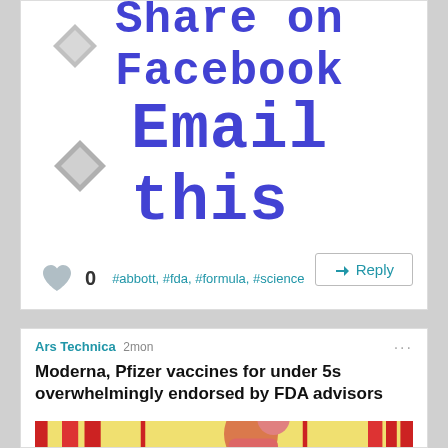[Figure (screenshot): Share on Facebook button with pixelated blue text and grey diamond icon]
[Figure (screenshot): Email this button with pixelated blue text and grey diamond icon]
0   #abbott, #fda, #formula, #science
Reply
Ars Technica 2mon
Moderna, Pfizer vaccines for under 5s overwhelmingly endorsed by FDA advisors
[Figure (photo): Photo of a child in a yellow/red environment, appears to be medical or playground setting]